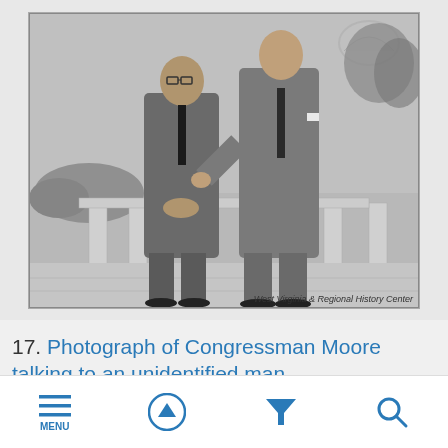[Figure (photo): Black and white photograph of two men in suits standing and talking outdoors, with stone balustrade columns visible behind them and trees/foliage in the background. A building dome is faintly visible in the upper right background.]
West Virginia & Regional History Center
17. Photograph of Congressman Moore talking to an unidentified man
MENU [navigation icons: up arrow, filter, search]